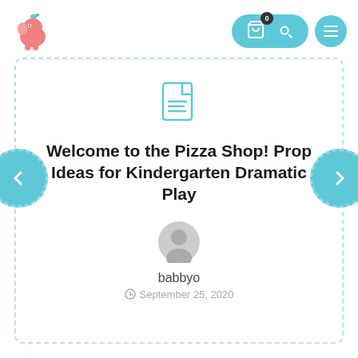[Figure (logo): Pink elephant logo with small bird on top]
[Figure (infographic): Website header navigation with shopping cart (badge 0), search/key icon pill button in teal, and teal menu hamburger circle button]
[Figure (illustration): Teal document/page icon with wavy text lines]
Welcome to the Pizza Shop! Prop Ideas for Kindergarten Dramatic Play
[Figure (illustration): Generic grey user avatar circle icon]
babbyo
September 25, 2020